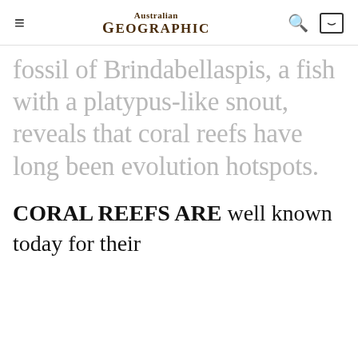Australian Geographic
fossil of Brindabellaspis, a fish with a platypus-like snout, reveals that coral reefs have long been evolution hotspots.
CORAL REEFS ARE well known today for their